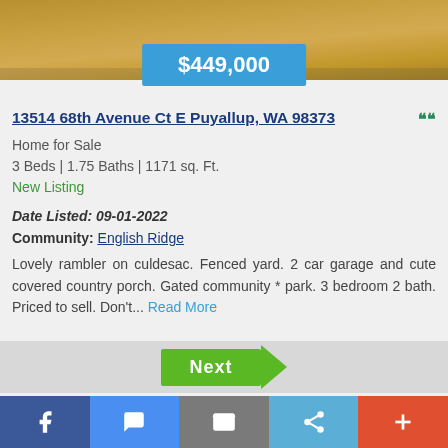[Figure (photo): Aerial/outdoor photo showing dry grass/lawn area, partially visible at the top of the page]
$449,000
13514 68th Avenue Ct E Puyallup, WA 98373
Home for Sale
3 Beds | 1.75 Baths | 1171 sq. Ft.
New Listing
Date Listed: 09-01-2022
Community: English Ridge
Lovely rambler on culdesac. Fenced yard. 2 car garage and cute covered country porch. Gated community * park. 3 bedroom 2 bath. Priced to sell. Don't... Read More
[Figure (other): Next button with green arrow/chevron shape]